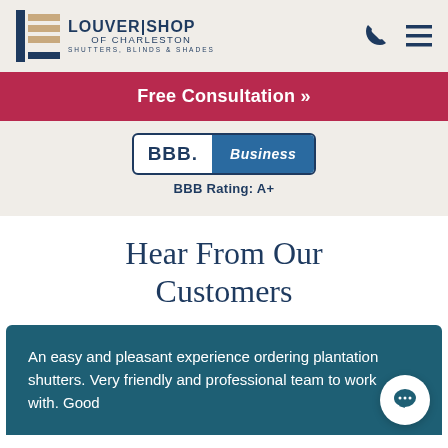LOUVER|SHOP OF CHARLESTON — SHUTTERS, BLINDS & SHADES
[Figure (logo): Louver Shop of Charleston logo with stylized window blind icon and company name]
Free Consultation »
[Figure (logo): BBB Business badge with BBB Rating: A+]
Hear From Our Customers
An easy and pleasant experience ordering plantation shutters. Very friendly and professional team to work with. Good